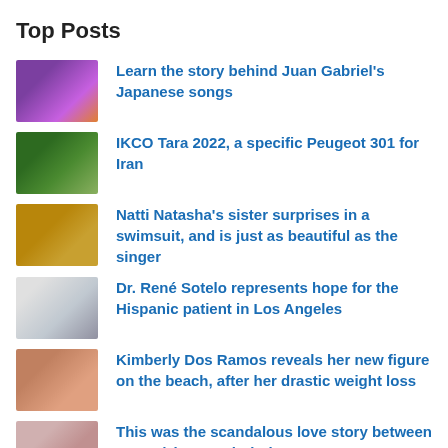Top Posts
Learn the story behind Juan Gabriel's Japanese songs
IKCO Tara 2022, a specific Peugeot 301 for Iran
Natti Natasha's sister surprises in a swimsuit, and is just as beautiful as the singer
Dr. René Sotelo represents hope for the Hispanic patient in Los Angeles
Kimberly Dos Ramos reveals her new figure on the beach, after her drastic weight loss
This was the scandalous love story between Ana Bárbara and El Pirru
Ana Bárbara goes into the pool wearing a sexy bikini with her fiancé and is on vacation